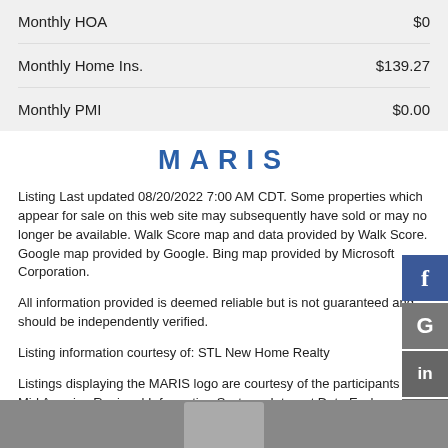| Item | Amount |
| --- | --- |
| Monthly HOA | $0 |
| Monthly Home Ins. | $139.27 |
| Monthly PMI | $0.00 |
MARIS
Listing Last updated 08/20/2022 7:00 AM CDT. Some properties which appear for sale on this web site may subsequently have sold or may no longer be available. Walk Score map and data provided by Walk Score. Google map provided by Google. Bing map provided by Microsoft Corporation.
All information provided is deemed reliable but is not guaranteed and should be independently verified.
Listing information courtesy of: STL New Home Realty
Listings displaying the MARIS logo are courtesy of the participants of Mid America Regional Information Systems Internet Data Exchange